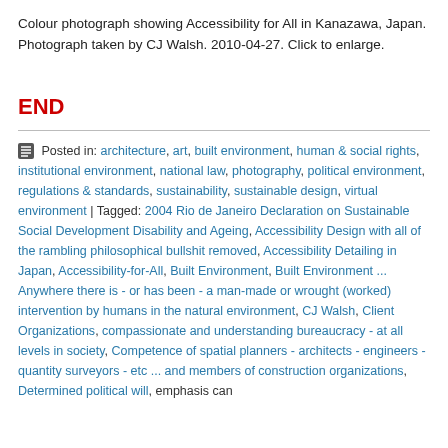Colour photograph showing Accessibility for All in Kanazawa, Japan. Photograph taken by CJ Walsh. 2010-04-27. Click to enlarge.
END
Posted in: architecture, art, built environment, human & social rights, institutional environment, national law, photography, political environment, regulations & standards, sustainability, sustainable design, virtual environment | Tagged: 2004 Rio de Janeiro Declaration on Sustainable Social Development Disability and Ageing, Accessibility Design with all of the rambling philosophical bullshit removed, Accessibility Detailing in Japan, Accessibility-for-All, Built Environment, Built Environment ... Anywhere there is - or has been - a man-made or wrought (worked) intervention by humans in the natural environment, CJ Walsh, Client Organizations, compassionate and understanding bureaucracy - at all levels in society, Competence of spatial planners - architects - engineers - quantity surveyors - etc ... and members of construction organizations, Determined political will, emphasis can